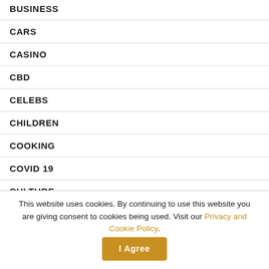BUSINESS
CARS
CASINO
CBD
CELEBS
CHILDREN
COOKING
COVID 19
CULTURE
EDUCATION
This website uses cookies. By continuing to use this website you are giving consent to cookies being used. Visit our Privacy and Cookie Policy. I Agree